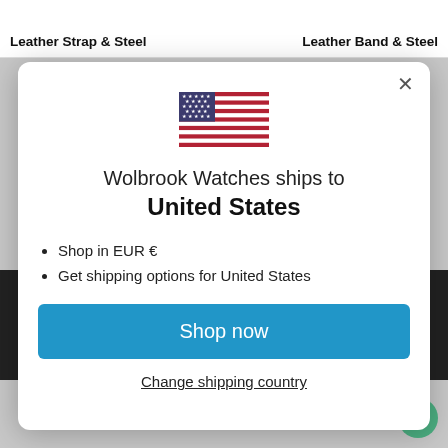Leather Strap & Steel   Leather Band & Steel
[Figure (screenshot): Modal dialog showing a US flag, text 'Wolbrook Watches ships to United States', bullet points 'Shop in EUR €' and 'Get shipping options for United States', a blue 'Shop now' button, and a 'Change shipping country' link.]
Wolbrook Watches ships to United States
Shop in EUR €
Get shipping options for United States
Shop now
Change shipping country